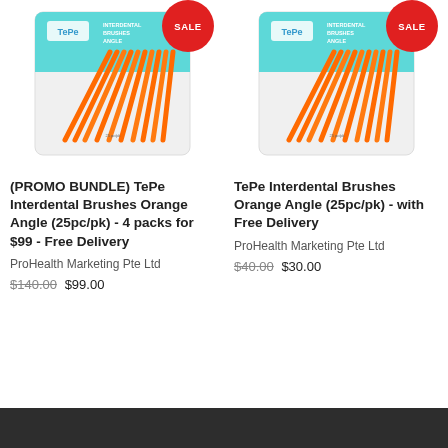[Figure (photo): Product listing for (PROMO BUNDLE) TePe Interdental Brushes Orange Angle (25pc/pk) - 4 packs for $99 - Free Delivery, with SALE badge and product image of orange interdental brushes in packaging]
(PROMO BUNDLE) TePe Interdental Brushes Orange Angle (25pc/pk) - 4 packs for $99 - Free Delivery
ProHealth Marketing Pte Ltd
$140.00 $99.00
[Figure (photo): Product listing for TePe Interdental Brushes Orange Angle (25pc/pk) - with Free Delivery, with SALE badge and product image of orange interdental brushes in packaging]
TePe Interdental Brushes Orange Angle (25pc/pk) - with Free Delivery
ProHealth Marketing Pte Ltd
$40.00 $30.00